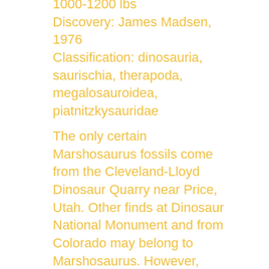1000-1200 lbs
Discovery: James Madsen, 1976
Classification: dinosauria, saurischia, therapoda, megalosauroidea, piatnitzkysauridae
The only certain Marshosaurus fossils come from the Cleveland-Lloyd Dinosaur Quarry near Price, Utah. Other finds at Dinosaur National Monument and from Colorado may belong to Marshosaurus. However, scientists know this species solely from the hip bones of a